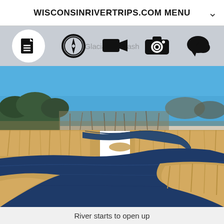WISCONSINRIVERTRIPS.COM MENU
[Figure (screenshot): Navigation icon bar with document, compass, video camera, photo camera, and speech bubble icons on a grey background. Faded text 'Glacial Outwash' visible behind icons.]
[Figure (photo): Photograph of a Wisconsin river winding through flat grassland with dry golden reeds on the banks, bare trees in the background, and a clear blue sky above.]
River starts to open up